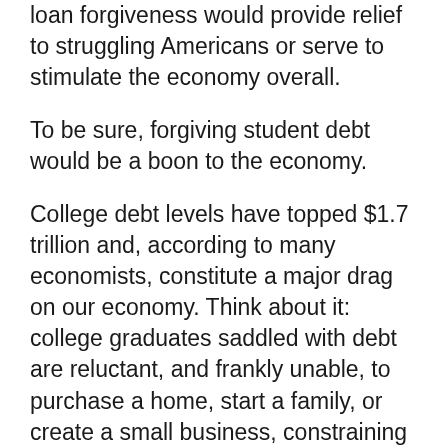loan forgiveness would provide relief to struggling Americans or serve to stimulate the economy overall.
To be sure, forgiving student debt would be a boon to the economy.
College debt levels have topped $1.7 trillion and, according to many economists, constitute a major drag on our economy. Think about it: college graduates saddled with debt are reluctant, and frankly unable, to purchase a home, start a family, or create a small business, constraining key sectors that drive economic growth and vitality under capitalism such as the housing market and entrepreneurial development .